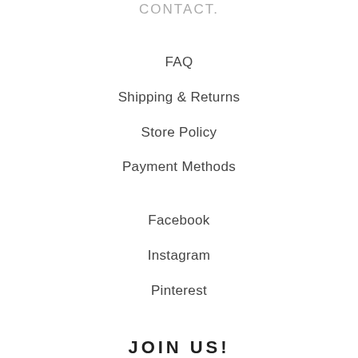CONTACT
FAQ
Shipping & Returns
Store Policy
Payment Methods
Facebook
Instagram
Pinterest
JOIN US!